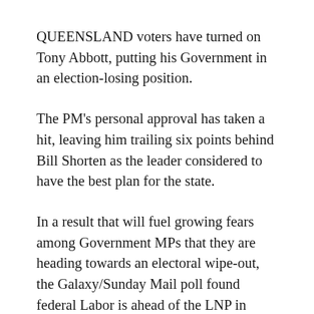QUEENSLAND voters have turned on Tony Abbott, putting his Government in an election-losing position.
The PM's personal approval has taken a hit, leaving him trailing six points behind Bill Shorten as the leader considered to have the best plan for the state.
In a result that will fuel growing fears among Government MPs that they are heading towards an electoral wipe-out, the Galaxy/Sunday Mail poll found federal Labor is ahead of the LNP in Queensland by 51 per cent to 49 per cent on a two-party preferred basis.